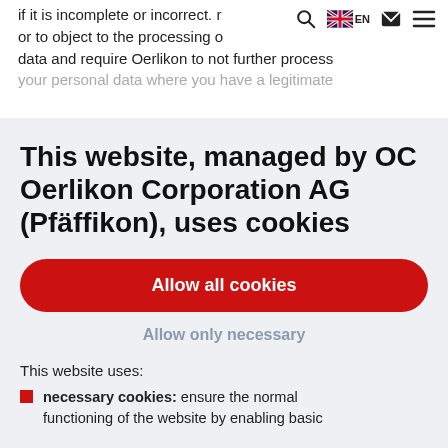if it is incomplete or incorrect. r or to object to the processing o data and require Oerlikon to not further process your personal data where you have a legitimate
This website, managed by OC Oerlikon Corporation AG (Pfäffikon), uses cookies
Allow all cookies
Allow only necessary
This website uses:
necessary cookies: ensure the normal functioning of the website by enabling basic